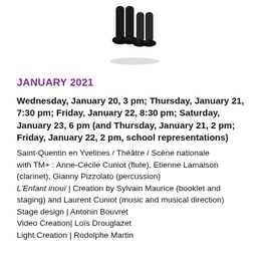[Figure (illustration): Two cartoon-like figures (legs/feet only) standing together, one slightly behind the other, wearing dark shoes, with a shadow beneath them]
JANUARY 2021
Wednesday, January 20, 3 pm; Thursday, January 21, 7:30 pm; Friday, January 22, 8:30 pm; Saturday, January 23, 6 pm (and Thursday, January 21, 2 pm; Friday, January 22, 2 pm, school representations)
Saint-Quentin en Yvelines / Théâtre / Scène nationale with TM+ : Anne-Cécile Cuniot (flute), Etienne Lamaison (clarinet), Gianny Pizzolato (percussion)
L'Enfant inouï | Creation by Sylvain Maurice (booklet and staging) and Laurent Cuniot (music and musical direction)
Stage design | Antonin Bouvret
Video Creation| Loïs Drouglazet
Light Creation | Rodolphe Martin